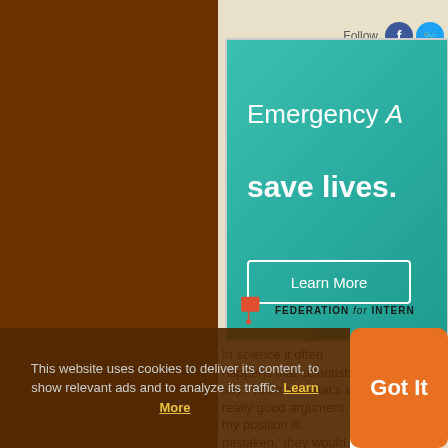[Figure (screenshot): Screenshot of a webpage showing an advertisement banner for 'Federation for International' organization with teal background. Text reads 'Emergency...' and 'save lives.' with a 'Learn More' button. Below the ad is a quote starting 'In science it often happens that scientists say, You know that’s a really good argument, my position is mistaken, they would actually change their' with a photo of a person. Social media follow icons (Facebook, Twitter) are visible at the top.]
This website uses cookies to deliver its content, to show relevant ads and to analyze its traffic. Learn More